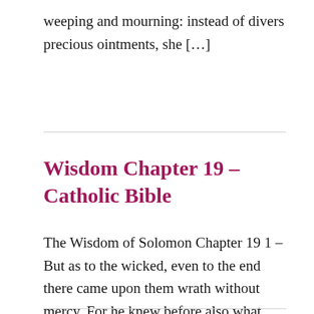weeping and mourning: instead of divers precious ointments, she […]
Wisdom Chapter 19 – Catholic Bible
The Wisdom of Solomon Chapter 19 1 – But as to the wicked, even to the end there came upon them wrath without mercy. For he knew before also what they would do: 2 – For when they had given them leave to depart, and had sent them away with great care, they repented, and […]